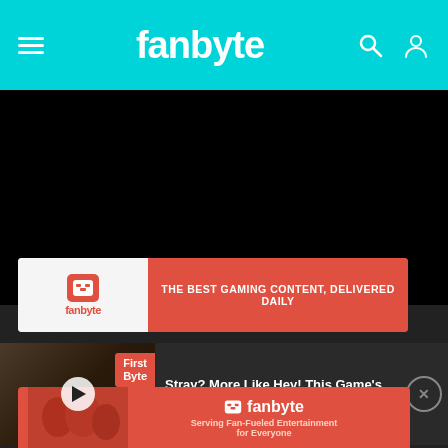fanbyte
[Figure (screenshot): Black video/content area taking up middle section of the page]
[Figure (infographic): Fanbyte banner ad: red and light background with text 'THE BEST GAMING CONTENT, DELIVERED DAILY']
[Figure (screenshot): Video card showing 'First Byte' badge with cat game thumbnail and play button]
Stray? More Like Hey! This Game's Pretty Good | First Byte
[Figure (infographic): Bottom Fanbyte ad banner: 'Serving Fan-Fueled Entertainment for Everyone']